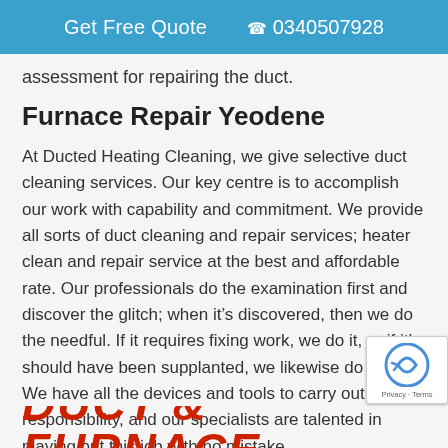Get Free Quote  0340507928
assessment for repairing the duct.
Furnace Repair Yeodene
At Ducted Heating Cleaning, we give selective duct cleaning services. Our key centre is to accomplish our work with capability and commitment. We provide all sorts of duct cleaning and repair services; heater clean and repair service at the best and affordable rate. Our professionals do the examination first and discover the glitch; when it’s discovered, then we do the needful. If it requires fixing work, we do it, or if it’s should have been supplanted, we likewise do that. We have all the devices and tools to carry out the responsibility, and our specialists are talented in playing out this job with no mistake.
[Figure (other): reCAPTCHA badge with Privacy and Terms text]
DUCT & FURNACE